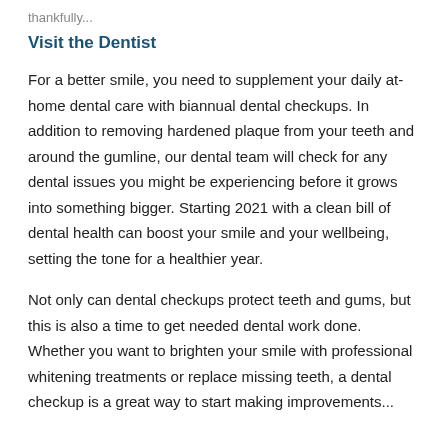thankfully...
Visit the Dentist
For a better smile, you need to supplement your daily at-home dental care with biannual dental checkups. In addition to removing hardened plaque from your teeth and around the gumline, our dental team will check for any dental issues you might be experiencing before it grows into something bigger. Starting 2021 with a clean bill of dental health can boost your smile and your wellbeing, setting the tone for a healthier year.
Not only can dental checkups protect teeth and gums, but this is also a time to get needed dental work done. Whether you want to brighten your smile with professional whitening treatments or replace missing teeth, a dental checkup is a great way to start making improvements...